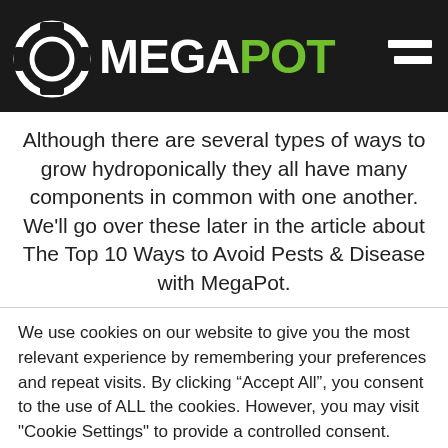MEGA POT
Although there are several types of ways to grow hydroponically they all have many components in common with one another. We’ll go over these later in the article about The Top 10 Ways to Avoid Pests & Disease with MegaPot.
We use cookies on our website to give you the most relevant experience by remembering your preferences and repeat visits. By clicking “Accept All”, you consent to the use of ALL the cookies. However, you may visit "Cookie Settings" to provide a controlled consent.
Cookie Settings
Accept All